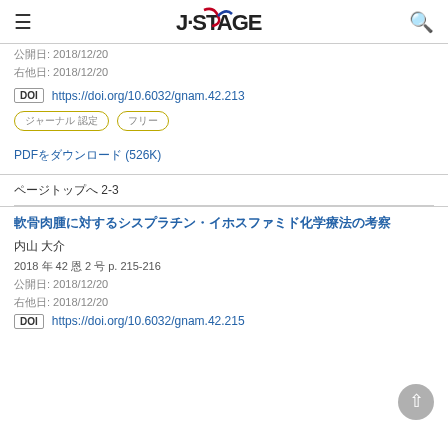J-STAGE
公開日: 2018/12/20
印刷公開: 2018/12/20
DOI https://doi.org/10.6032/gnam.42.213
ジャーナル 認定　フリー
PDFをダウンロード (526K)
ページトップへ 2-3
軟骨肉腫に対するシスプラチン・イホスファミド化学療法の考察
山田 太郎
2018 年 42 巻 2 号 p. 215-216
公開日: 2018/12/20
印刷公開: 2018/12/20
DOI https://doi.org/10.6032/gnam.42.215